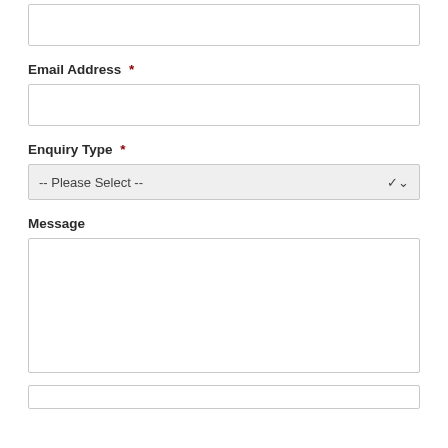[Figure (screenshot): Empty text input field at top of form (partially visible)]
Email Address *
[Figure (screenshot): Empty text input field for Email Address]
Enquiry Type *
[Figure (screenshot): Dropdown select field showing '-- Please Select --']
Message
[Figure (screenshot): Large empty textarea for Message]
[Figure (screenshot): Small empty input field at bottom of page (partially visible)]